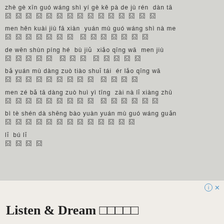zhè gè xīn guó wáng shì yí gè kě pà de jù rén  dàn tā
囧 囧 囧 囧 囧 囧 囧 囧 囧 囧 囧 囧 囧 囧 囧
men hěn kuài jiù fā xiàn  yuán mù guó wáng shì nà me
囧 囧 囧 囧 囧 囧 囧  囧 囧 囧 囧 囧 囧 囧
de wēn shùn píng hé  bù jiǔ  xiǎo qīng wā  men jiù
囧 囧 囧 囧 囧  囧 囧 囧  囧 囧 囧 囧 囧
bǎ yuán mù dàng zuò tiào shuǐ tái  ér lǎo qīng wā
囧 囧 囧 囧 囧 囧 囧 囧 囧  囧 囧 囧 囧
men zé bǎ tā dàng zuò huì yì tīng  zài nà lǐ xiàng zhū
囧 囧 囧 囧 囧 囧 囧 囧 囧  囧 囧 囧 囧 囧 囧
bì tè shén dà shēng bào yuàn yuán mù guó wáng guǎn
囧 囧 囧 囧 囧 囧 囧 囧 囧 囧 囧 囧 囧
lǐ  bú lǐ
囧 囧 囧 囧
[Figure (screenshot): Advertisement banner with 'Listen & Dream' text and info/close icons]